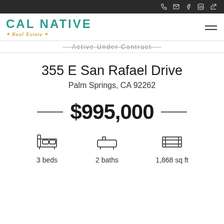CAL NATIVE Real Estate — navigation bar with phone, email, social icons
355 E San Rafael Drive
Palm Springs, CA 92262
$995,000
3 beds   2 baths   1,868 sq ft